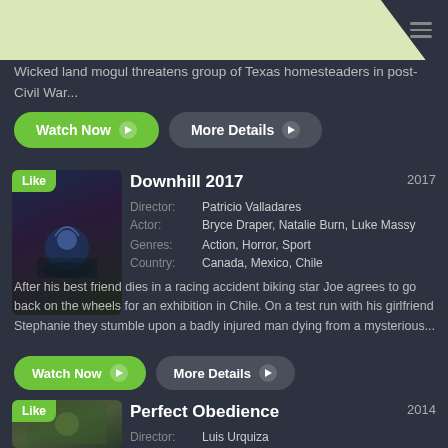[Figure (logo): PutLocker New logo in header]
Wicked land mogul threatens group of Texas homesteaders in post-Civil War...
Watch Now | More Details
[Figure (photo): Downhill 2017 movie thumbnail with Like badge]
Downhill 2017
Director: Patricio Valladares
Actor: Bryce Draper, Natalie Burn, Luke Massy
Genres: Action, Horror, Sport
Country: Canada, Mexico, Chile
After his best friend dies in a racing accident biking star Joe agrees to go back on the wheels for an exhibition in Chile. On a test run with his girlfriend Stephanie they stumble upon a badly injured man dying from a mysterious...
Watch Now | More Details
[Figure (photo): Perfect Obedience 2014 movie thumbnail with Like badge]
Perfect Obedience
Director: Luis Urquiza